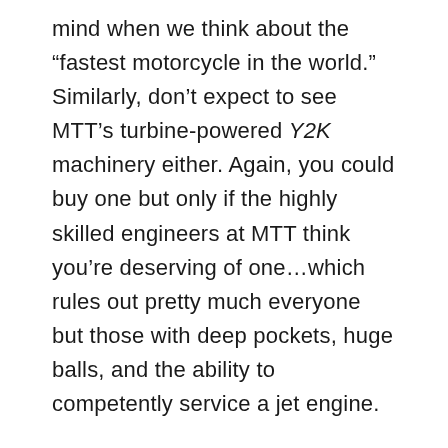mind when we think about the “fastest motorcycle in the world.” Similarly, don’t expect to see MTT’s turbine-powered Y2K machinery either. Again, you could buy one but only if the highly skilled engineers at MTT think you’re deserving of one…which rules out pretty much everyone but those with deep pockets, huge balls, and the ability to competently service a jet engine.
However, we will be including a few special exclusive units, because otherwise, the list would be a pretty dull affair. Fortunately, the days of the manufacturer’s